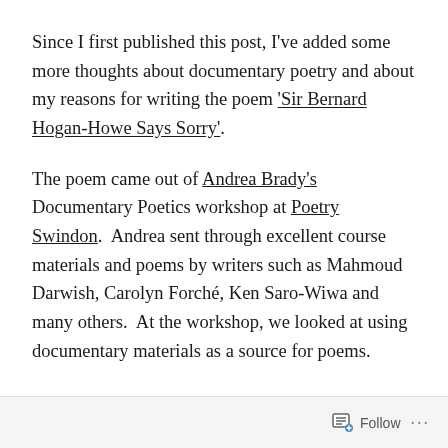Since I first published this post, I've added some more thoughts about documentary poetry and about my reasons for writing the poem 'Sir Bernard Hogan-Howe Says Sorry'.
The poem came out of Andrea Brady's Documentary Poetics workshop at Poetry Swindon.  Andrea sent through excellent course materials and poems by writers such as Mahmoud Darwish, Carolyn Forché, Ken Saro-Wiwa and many others.  At the workshop, we looked at using documentary materials as a source for poems.
Follow ···